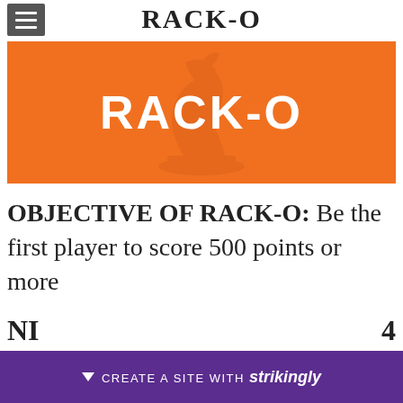RACK-O
[Figure (illustration): Orange banner with RACK-O text in white bold letters and a faint chess knight piece watermark in the background]
OBJECTIVE OF RACK-O: Be the first player to score 500 points or more
CREATE A SITE WITH strikingly